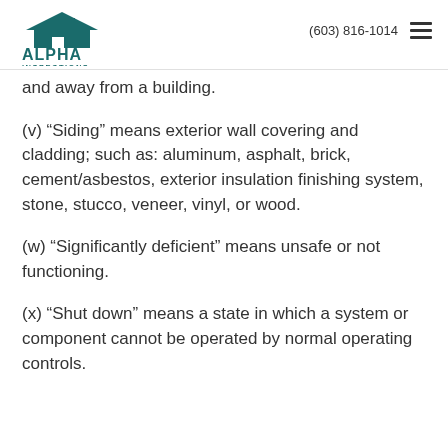Alpha Inspections | Home & Commercial Building Inspections | (603) 816-1014
and away from a building.
(v) “Siding” means exterior wall covering and cladding; such as: aluminum, asphalt, brick, cement/asbestos, exterior insulation finishing system, stone, stucco, veneer, vinyl, or wood.
(w) “Significantly deficient” means unsafe or not functioning.
(x) “Shut down” means a state in which a system or component cannot be operated by normal operating controls.